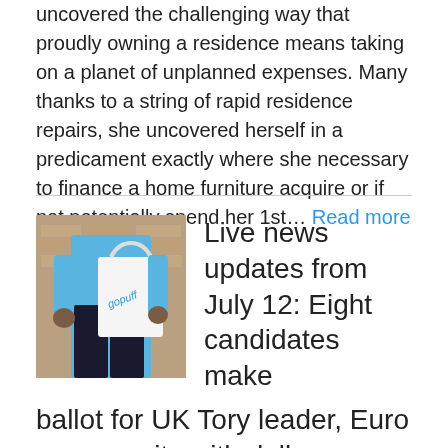uncovered the challenging way that proudly owning a residence means taking on a planet of unplanned expenses. Many thanks to a string of rapid residence repairs, she uncovered herself in a predicament exactly where she necessary to finance a home furniture acquire or if not potentially spend her 1st... Read more →
[Figure (photo): A person carrying a Gopuff branded white delivery bag with blue logo text, wearing a blue shirt and dark pants]
Live news updates from July 12: Eight candidates make ballot for UK Tory leader, Euro nears parity with dollar